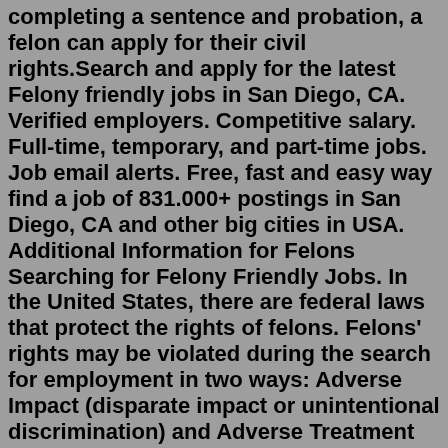completing a sentence and probation, a felon can apply for their civil rights.Search and apply for the latest Felony friendly jobs in San Diego, CA. Verified employers. Competitive salary. Full-time, temporary, and part-time jobs. Job email alerts. Free, fast and easy way find a job of 831.000+ postings in San Diego, CA and other big cities in USA. Additional Information for Felons Searching for Felony Friendly Jobs. In the United States, there are federal laws that protect the rights of felons. Felons' rights may be violated during the search for employment in two ways: Adverse Impact (disparate impact or unintentional discrimination) and Adverse Treatment (disparate treatment or intentional discrimination).Steve Mason/Digital Vision/Getty Images. Felons can obtain cosmetology licenses in almost all states and work as hairdressers, nail technicians or both. Some states require that you disclose the conviction and any postjudgment issues, so be sure to learn your state's rules. Cosmetology work requires that you have a state license, but once